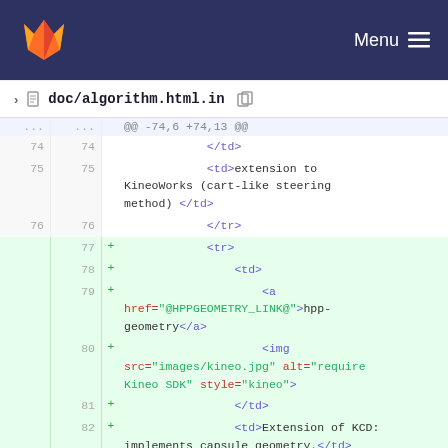GitLab navigation bar with logo and Menu
doc/algorithm.html.in
| old_ln | new_ln | op | code |
| --- | --- | --- | --- |
| ... | ... |  | @@ -74,6 +74,13 @@ |
| 74 | 74 |  |                 </td> |
| 75 | 75 |  |                 <td>extension to KineoWorks (cart-like steering method) </td> |
| 76 | 76 |  |                 </tr> |
|  | 77 | + |                 <tr> |
|  | 78 | + |                     <td> |
|  | 79 | + |                         <a href="@HPPGEOMETRY_LINK@">hpp-geometry</a> |
|  | 80 | + |                         <img src="images/kineo.jpg" alt="require Kineo SDK" style="kineo"> |
|  | 81 | + |                     </td> |
|  | 82 | + |                     <td>Extension of KCD: implements capsule geometry.</td> |
|  | 83 | + |                 </tr> |